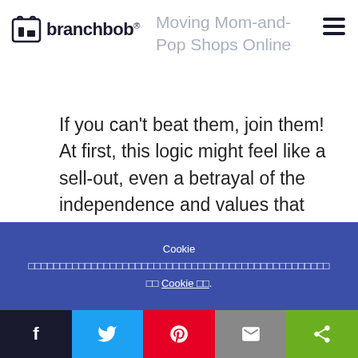branchbob®
Moving Mom-and-Pop Shops Online
If you can't beat them, join them! At first, this logic might feel like a sell-out, even a betrayal of the independence and values that Mom-and-Pop shops
Cookie 　　　　　　　　　　　　　　　　　　　　　　　　　　　 　　 Cookie 　　.